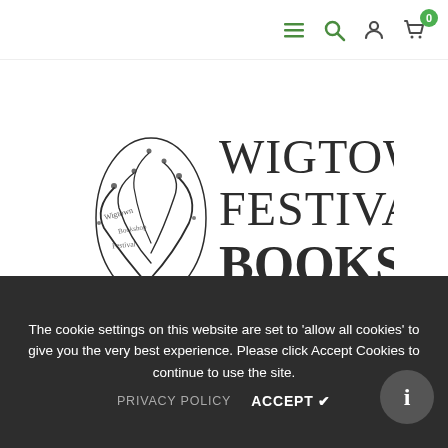Navigation bar with menu, search, account, and cart (0 items) icons
[Figure (logo): Wigtown Festival Bookshop logo — stylized tree illustration on the left with cursive text, and 'WIGTOWN FESTIVAL BOOKSHOP' in large serif/bold type on the right]
Contact Us
The cookie settings on this website are set to 'allow all cookies' to give you the very best experience. Please click Accept Cookies to continue to use the site.
PRIVACY POLICY   ACCEPT ✔